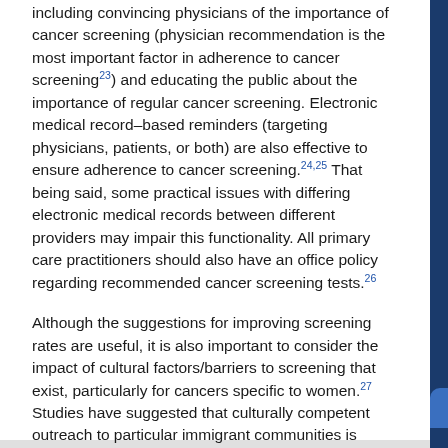including convincing physicians of the importance of cancer screening (physician recommendation is the most important factor in adherence to cancer screening²³) and educating the public about the importance of regular cancer screening. Electronic medical record–based reminders (targeting physicians, patients, or both) are also effective to ensure adherence to cancer screening.²⁴ʸ²⁵ That being said, some practical issues with differing electronic medical records between different providers may impair this functionality. All primary care practitioners should also have an office policy regarding recommended cancer screening tests.²⁶
Although the suggestions for improving screening rates are useful, it is also important to consider the impact of cultural factors/barriers to screening that exist, particularly for cancers specific to women.²⁷ Studies have suggested that culturally competent outreach to particular immigrant communities is important, particularly in a country that welcomes many immigrants every year such as Canada.²⁸ʸ²⁹